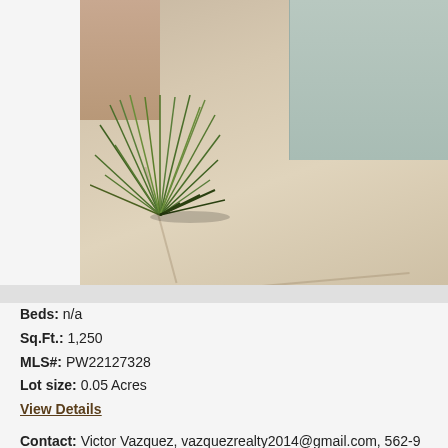[Figure (photo): Street-level photo showing a sidewalk with ornamental grass growing from a tree well, a light blue/gray stucco wall on the right, and a storefront visible on the upper left.]
Beds: n/a
Sq.Ft.: 1,250
MLS#: PW22127328
Lot size: 0.05 Acres
View Details
Contact: Victor Vazquez, vazquezrealty2014@gmail.com, 562-9